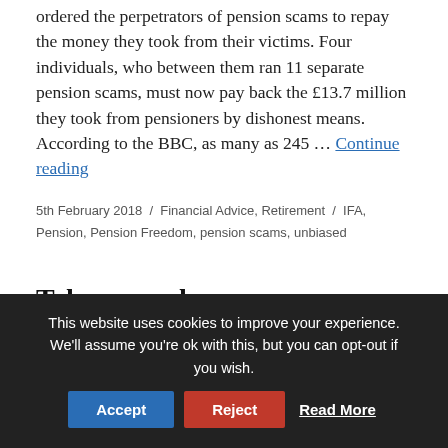ordered the perpetrators of pension scams to repay the money they took from their victims. Four individuals, who between them ran 11 separate pension scams, must now pay back the £13.7 million they took from pensioners by dishonest means. According to the BBC, as many as 245 … Continue reading
5th February 2018 / Financial Advice, Retirement / IFA, Pension, Pension Freedom, pension scams, unbiased
Take care where you
This website uses cookies to improve your experience. We'll assume you're ok with this, but you can opt-out if you wish. Accept Reject Read More